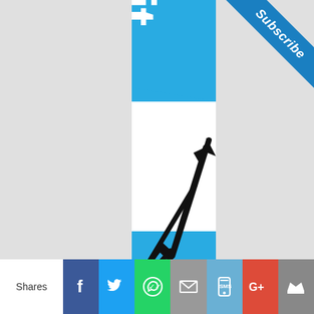[Figure (logo): Profit.com.au vertical banner logo with blue sections and white section showing '.com.au' text rotated 90 degrees, with a black upward trending arrow/chart line at the bottom]
[Figure (other): Blue corner ribbon in top-right with 'Subscribe' text in white italic]
Shares
[Figure (other): Social sharing bar with Facebook, Twitter, WhatsApp, Email, SMS, Google+, and crown icons]